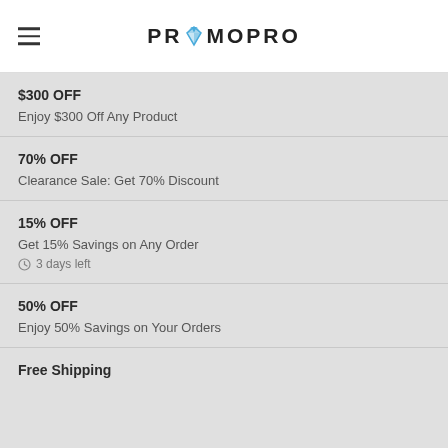PROMOPRO
$300 OFF
Enjoy $300 Off Any Product
70% OFF
Clearance Sale: Get 70% Discount
15% OFF
Get 15% Savings on Any Order
3 days left
50% OFF
Enjoy 50% Savings on Your Orders
Free Shipping